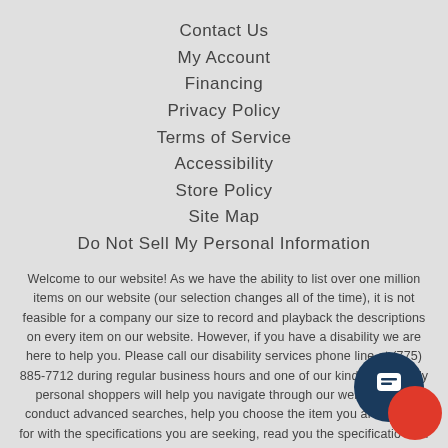Contact Us
My Account
Financing
Privacy Policy
Terms of Service
Accessibility
Store Policy
Site Map
Do Not Sell My Personal Information
Welcome to our website! As we have the ability to list over one million items on our website (our selection changes all of the time), it is not feasible for a company our size to record and playback the descriptions on every item on our website. However, if you have a disability we are here to help you. Please call our disability services phone line at (775) 885-7712 during regular business hours and one of our kind and friendly personal shoppers will help you navigate through our website, help conduct advanced searches, help you choose the item you are looking for with the specifications you are seeking, read you the specifications of any item and consult with you about the products themselves. There is no charge for the help of this personal shopper for anyone with a disability. Finally, your personal shopper will explain our Privacy Policy and Terms of Service, and help you place an order if you so desire.